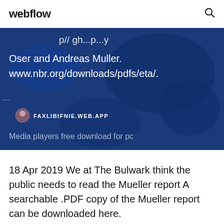webflow
[Figure (screenshot): Hero section with dark blue background showing a world map silhouette. Partial white text visible at top reading '...p// ...gh...p...y Oser and Andreas Muller. www.nbr.org/downloads/pdfs/eta/.' with a site badge showing FAXLIBIFNIE.WEB.APP and subtitle 'Media players free download for pc']
18 Apr 2019 We at The Bulwark think the public needs to read the Mueller report A searchable .PDF copy of the Mueller report can be downloaded here.